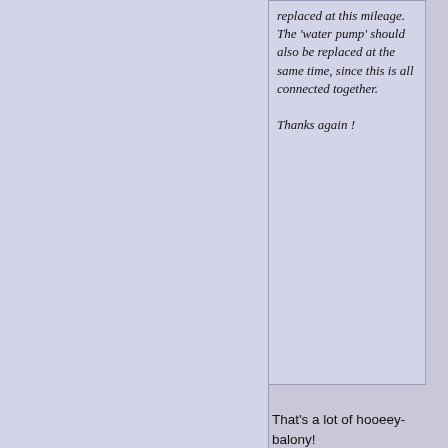replaced at this mileage. The 'water pump' should also be replaced at the same time, since this is all connected together.

Thanks again !
That's a lot of hooeey-balony!
The leaky Subaru head gaskets were in the earlier 2005 or so, years. For a 2011 the head gasket is good-to-go, basically forever.
The timing "belt" is a timing chain and never needs replacing.
For the water pump ...... just forgetaboutit ..... no worries.
For $100 you can get Subaru road service for one year, and drive it until it breaks